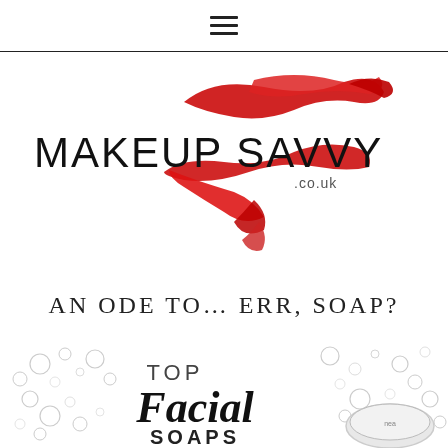≡
[Figure (logo): Makeup Savvy .co.uk logo with red lipstick smear/swipe graphic overlapping the text]
AN ODE TO... ERR, SOAP?
[Figure (infographic): Top Facial Soaps infographic with bubble illustrations and a circular soap product image, text reads: TOP Facial Soaps]